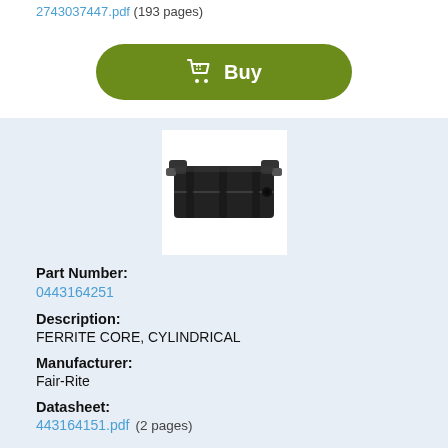2743037447.pdf  (193 pages)
Buy
[Figure (photo): Photo of a black cylindrical ferrite core clamp component]
Part Number: 0443164251
Description: FERRITE CORE, CYLINDRICAL
Manufacturer: Fair-Rite
Datasheet: 443164151.pdf  (2 pages)